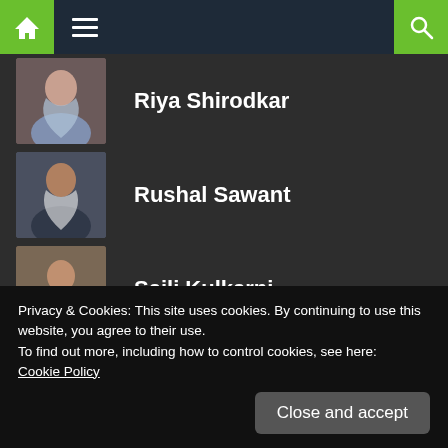[Figure (screenshot): Navigation bar with home icon (green background), hamburger menu icon, and search icon (green background) on dark blue background]
Riya Shirodkar
Rushal Sawant
Saili Kulkarni
Sanya Srishti
Privacy & Cookies: This site uses cookies. By continuing to use this website, you agree to their use.
To find out more, including how to control cookies, see here:
Cookie Policy
Close and accept